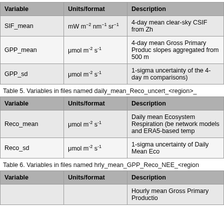| Variable | Units/format | Description |
| --- | --- | --- |
| SIF_mean | mW m⁻² nm⁻¹ sr⁻¹ | 4-day mean clear-sky CSIF from Zh |
| GPP_mean | μmol m⁻² s⁻¹ | 4-day mean Gross Primary Produc slopes aggregated from 500 m |
| GPP_sd | μmol m⁻² s⁻¹ | 1-sigma uncertainty of the 4-day m comparisons) |
Table 5. Variables in files named daily_mean_Reco_uncert_<region>_
| Variable | Units/format | Description |
| --- | --- | --- |
| Reco_mean | μmol m⁻² s⁻¹ | Daily mean Ecosystem Respiration (be network models and ERA5-based temp |
| Reco_sd | μmol m⁻² s⁻¹ | 1-sigma uncertainty of Daily Mean Eco |
Table 6. Variables in files named hrly_mean_GPP_Reco_NEE_<region
| Variable | Units/format | Description |
| --- | --- | --- |
|  |  | Hourly mean Gross Primary Productio |